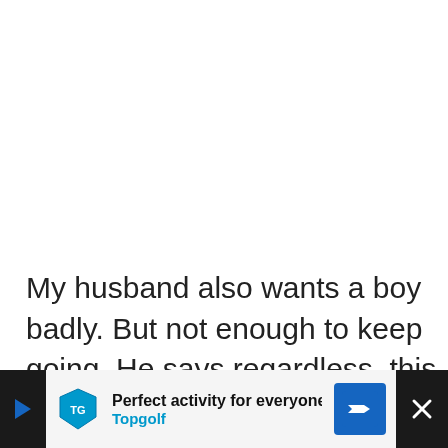My husband also wants a boy badly. But not enough to keep going. He says regardless, this is our last one. We'll see about that.
He's starting to get a bit antsy about not fin...
[Figure (other): Advertisement banner at the bottom of the page for Topgolf. Shows dark left bar with play arrow, white content area with Topgolf shield logo, headline 'Perfect activity for everyone', blue subtext 'Topgolf', a blue directional sign icon, and a dark close button with X.]